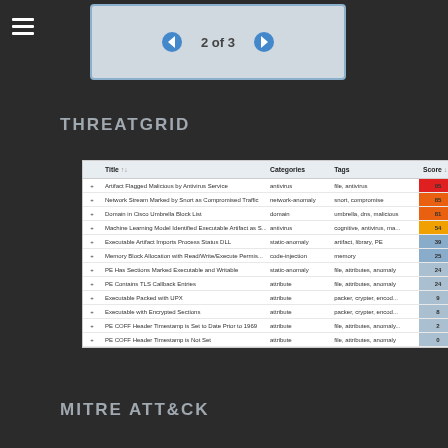[Figure (screenshot): Navigation bar with hamburger menu icon on left, a grey box with left/right blue arrow buttons and '2 of 3' text in center]
THREATGRID
|  | Title | Categories | Tags | Score |
| --- | --- | --- | --- | --- |
| + | Artifact Flagged Malicious by Antivirus Service | antivirus | file, antivirus | 95 |
| + | Network Stream Marked by Snort as Compromise Traffic | network-anomaly | snort, compromise | 85 |
| + | Domain in Cisco Umbrella Block List | domain | umbrella, dns, malicious | 81 |
| + | Machine Learning Model Identified Executable Artifact as S... | antivirus | cognitive, antivirus, ma... | 54 |
| + | Executable Artifact Imports Process Status DLL | static-anomaly | artifact, library, PE | 39 |
| + | Memory Block Allocation with Read/Write/Execute Permis... | code-injection | memory | 25 |
| + | PE Has Sections Marked Executable and Writable | static-anomaly | file, attributes, anomaly | 24 |
| + | PE Contains TLS Callback Entries | attribute | file, attributes, anomaly | 24 |
| + | Executable Packed with UPX | attribute | packer, crypter, encod... | 9 |
| + | Executable with Encrypted Sections | attribute | packer, crypter, encod... | 8 |
| + | PE COFF Header Timestamp is Set to Date Prior to 1969 | attribute | file, attributes, anomaly... | 2 |
| + | PE COFF Header Timestamp is Not Set | attribute | file, attributes, anomaly | 0 |
MITRE ATT&CK